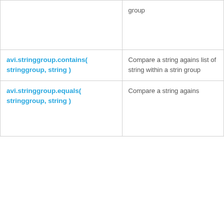| Function | Description |
| --- | --- |
|  | group |
| avi.stringgroup.contains( stringgroup, string ) | Compare a string against list of strings within a string group |
| avi.stringgroup.equals( stringgroup, string ) | Compare a string agains... |
This website stores cookies on your computer. These cookies allow us to remember you, customize your browsing experience, and analyze web traffic. To find out more about the cookies we use, see our Privacy Policy.
If you decline, a single cookie will be used in your browser to remember your preference not to be tracked.